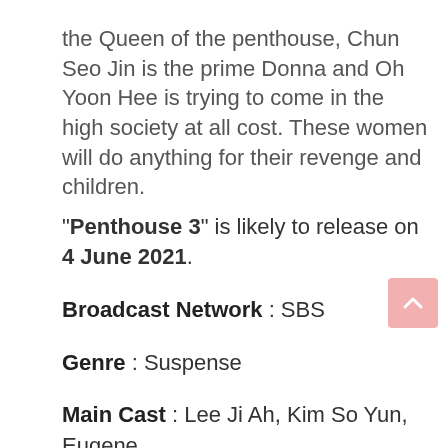the Queen of the penthouse, Chun Seo Jin is the prime Donna and Oh Yoon Hee is trying to come in the high society at all cost. These women will do anything for their revenge and children.
“Penthouse 3” is likely to release on 4 June 2021.
Broadcast Network : SBS
Genre : Suspense
Main Cast : Lee Ji Ah, Kim So Yun, Eugene
2. Next Door Witch J
[Figure (photo): Image placeholder: Next door watch j kdrama June 2021]